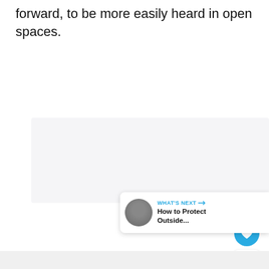forward, to be more easily heard in open spaces.
[Figure (photo): Large light grey image placeholder area with three small dots at the bottom center indicating a carousel or slideshow. A heart/like button (blue circle), a count of 2, and a share button are overlaid on the right side. A 'WHAT'S NEXT' card appears at bottom right showing a thumbnail and text 'How to Protect Outside...']